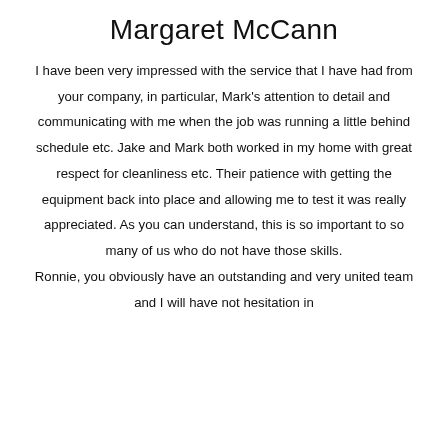Margaret McCann
I have been very impressed with the service that I have had from your company, in particular, Mark's attention to detail and communicating with me when the job was running a little behind schedule etc. Jake and Mark both worked in my home with great respect for cleanliness etc. Their patience with getting the equipment back into place and allowing me to test it was really appreciated. As you can understand, this is so important to so many of us who do not have those skills.
Ronnie, you obviously have an outstanding and very united team and I will have not hesitation in